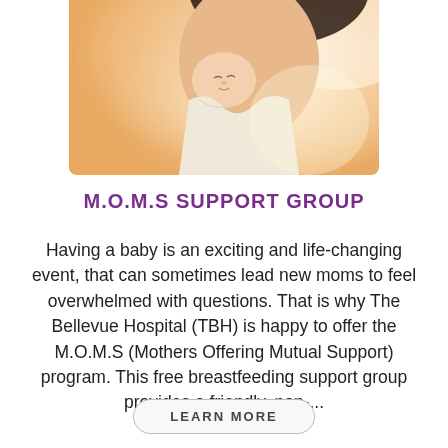[Figure (photo): A mother holding a newborn baby, soft warm tones, upper right composition]
M.O.M.S SUPPORT GROUP
Having a baby is an exciting and life-changing event, that can sometimes lead new moms to feel overwhelmed with questions. That is why The Bellevue Hospital (TBH) is happy to offer the M.O.M.S (Mothers Offering Mutual Support) program. This free breastfeeding support group provides a friendly, non-...
LEARN MORE